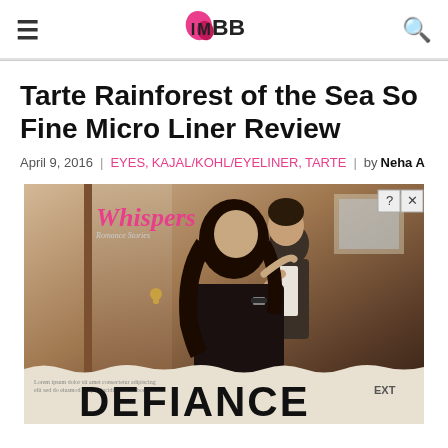IMBB logo with hamburger menu and search icon
Tarte Rainforest of the Sea So Fine Micro Liner Review
April 9, 2016 | EYES, KAJAL/KOHL/EYELINER, TARTE | by Neha A
[Figure (photo): Advertisement banner showing the 'Whispers' romance stories app/book with a couple in a dramatic pose, and the word DEFIANCE prominently displayed on torn newspaper]